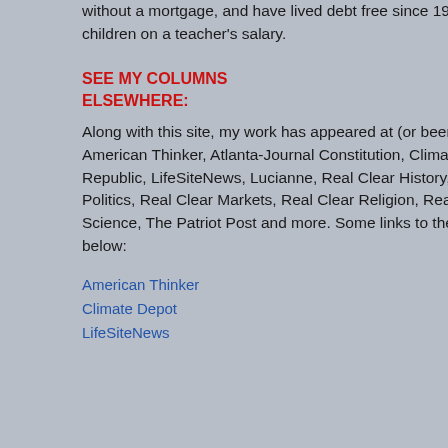without a mortgage, and have lived debt free since 1999, raising four children on a teacher's salary.
SEE MY COLUMNS ELSEWHERE:
Along with this site, my work has appeared at (or been linked from) American Thinker, Atlanta-Journal Constitution, Climate Depot, Free Republic, LifeSiteNews, Lucianne, Real Clear History, Real Clear Politics, Real Clear Markets, Real Clear Religion, Real Clear Science, The Patriot Post and more. Some links to these sites are below:
American Thinker
Climate Depot
LifeSiteNews
comments in the interview were unsupported by any research. Pachauri, was made aware of the Copenhagen conference, yet discuss radical change in global and is greatly rooted in the IP...
Pachauri has since admitted errors. According to Fox News Amazon rainforest in South A... that assertion was discredited based on numbers from a stu... nothing to do with the issue o... freelance journalist and green...
Given all of this, it's no wonder the issue of global warming ra... than last year. The January 2... trade policy and lobbyists, in ... public. (At the top of the poll w... security.)